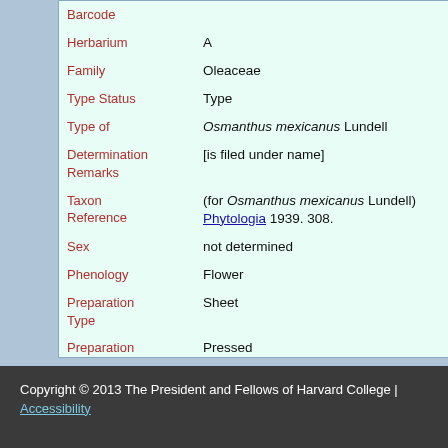| Field | Value |
| --- | --- |
| Barcode |  |
| Herbarium | A |
| Family | Oleaceae |
| Type Status | Type |
| Type of | Osmanthus mexicanus Lundell |
| Determination Remarks | [is filed under name] |
| Taxon Reference | (for Osmanthus mexicanus Lundell) Phytologia 1939. 308. |
| Sex | not determined |
| Phenology | Flower |
| Preparation Type | Sheet |
| Preparation Method | Pressed |
Copyright © 2013 The President and Fellows of Harvard College | Accessibility